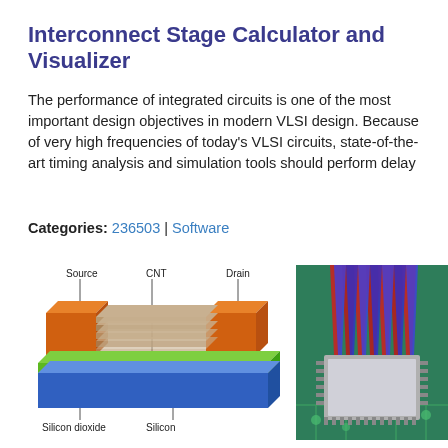Interconnect Stage Calculator and Visualizer
The performance of integrated circuits is one of the most important design objectives in modern VLSI design. Because of very high frequencies of today's VLSI circuits, state-of-the-art timing analysis and simulation tools should perform delay
Categories: 236503 | Software
[Figure (engineering-diagram): 3D diagram of a CNT (Carbon Nanotube) transistor structure showing labeled components: Source (orange), Drain (orange), CNT (center), Silicon dioxide (green layer), and Silicon (blue base layer). Labels appear above and below the diagram.]
[Figure (engineering-diagram): Illustration of a microchip/IC on a green circuit board with red and blue vertical beams of light shooting upward from the chip, suggesting high-speed data or signal transmission.]